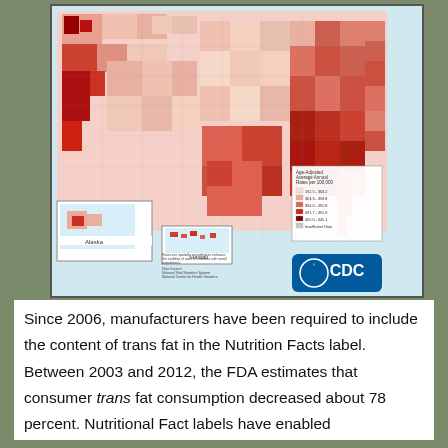[Figure (map): CDC choropleth map of the United States showing age-adjusted average annual rates per 100,000, with a color gradient from light pink to dark red indicating varying rates by county. Includes insets for Alaska and Hawaii. Legend shows ranges: 192.5-363.2, 363.3-393.8, 394.0-491.8, 491.7-491.9, 492.0-645.1, Insufficient Data. Data source: National Vital Statistics System, National Center for Health Statistics.]
Since 2006, manufacturers have been required to include the content of trans fat in the Nutrition Facts label.  Between 2003 and 2012, the FDA estimates that consumer trans fat consumption decreased about 78 percent. Nutritional Fact labels have enabled